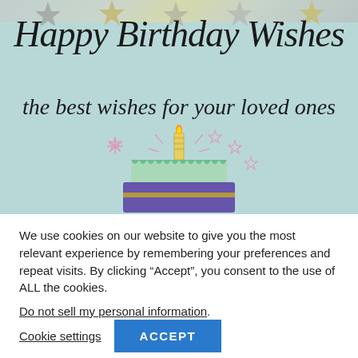[Figure (illustration): Birthday card illustration with light teal background, decorative stars at top, large cursive text 'Happy Birthday Wishes' and 'the best wishes for your loved ones', and a birthday cake with candle and sparklers at the bottom.]
We use cookies on our website to give you the most relevant experience by remembering your preferences and repeat visits. By clicking "Accept", you consent to the use of ALL the cookies.
Do not sell my personal information.
Cookie settings
ACCEPT